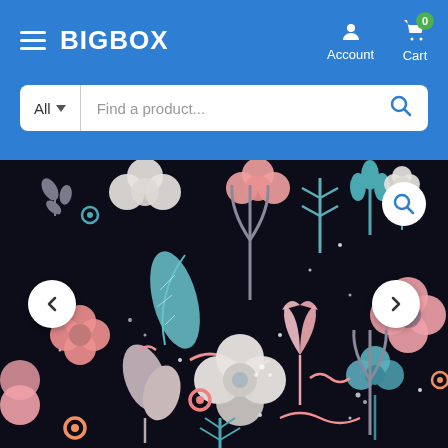BIGBOX — navigation header with Account and Cart
Find a product...
[Figure (illustration): Dark floral pattern product image on black background with pink, white, blue, and gray illustrated flowers, leaves, and botanical elements. Left and right carousel navigation arrows are visible, plus a magnify icon in upper right.]